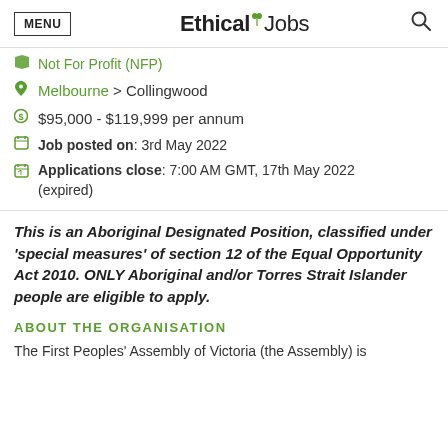EthicalJobs
Not For Profit (NFP)
Melbourne > Collingwood
$95,000 - $119,999 per annum
Job posted on: 3rd May 2022
Applications close: 7:00 AM GMT, 17th May 2022 (expired)
This is an Aboriginal Designated Position, classified under 'special measures' of section 12 of the Equal Opportunity Act 2010. ONLY Aboriginal and/or Torres Strait Islander people are eligible to apply.
ABOUT THE ORGANISATION
The First Peoples' Assembly of Victoria (the Assembly) is